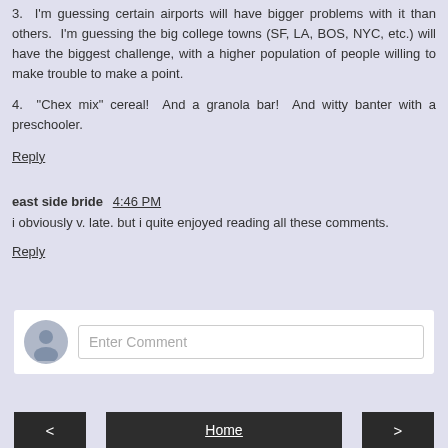3.  I'm guessing certain airports will have bigger problems with it than others.  I'm guessing the big college towns (SF, LA, BOS, NYC, etc.) will have the biggest challenge, with a higher population of people willing to make trouble to make a point.
4.  "Chex mix" cereal!  And a granola bar!  And witty banter with a preschooler.
Reply
east side bride   4:46 PM
i obviously v. late. but i quite enjoyed reading all these comments.
Reply
[Figure (other): Comment input box with avatar icon and 'Enter Comment' placeholder text]
< Home >